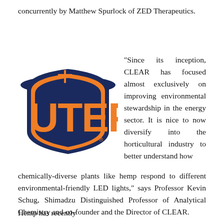concurrently by Matthew Spurlock of ZED Therapeutics.
[Figure (logo): UTEP (University of Texas at El Paso) athletics logo — orange and navy blue UTEP letters with a pickaxe graphic]
“Since its inception, CLEAR has focused almost exclusively on improving environmental stewardship in the energy sector. It is nice to now diversify into the horticultural industry to better understand how chemically-diverse plants like hemp respond to different environmental-friendly LED lights,” says Professor Kevin Schug, Shimadzu Distinguished Professor of Analytical Chemistry and co-founder and the Director of CLEAR.
Hemp has recently